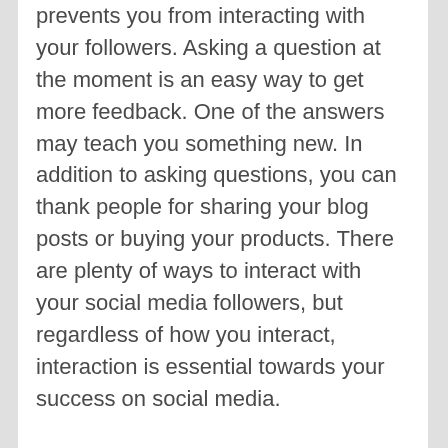However, automating all of your posts prevents you from interacting with your followers. Asking a question at the moment is an easy way to get more feedback. One of the answers may teach you something new. In addition to asking questions, you can thank people for sharing your blog posts or buying your products. There are plenty of ways to interact with your social media followers, but regardless of how you interact, interaction is essential towards your success on social media.
Were you deceived by the misconceptions? Please share your thoughts below.